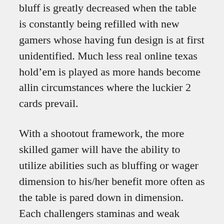bluff is greatly decreased when the table is constantly being refilled with new gamers whose having fun design is at first unidentified. Much less real online texas hold'em is played as more hands become allin circumstances where the luckier 2 cards prevail.
With a shootout framework, the more skilled gamer will have the ability to utilize abilities such as bluffing or wager dimension to his/her benefit more often as the table is pared down in dimension. Each challengers staminas and weak points will become more obvious the much longer they bet each various other. The need to simply survive to the cash degree is gotten rid of. Under a shootout